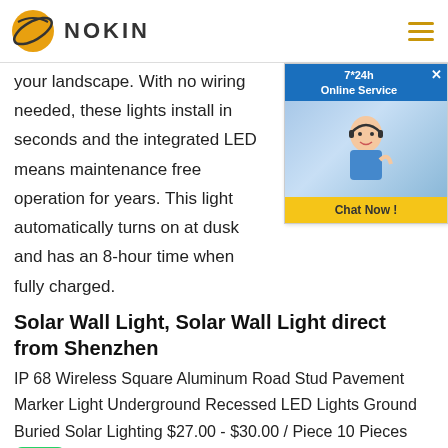NOKIN
your landscape. With no wiring needed, these lights install in seconds and the integrated LED means maintenance free operation for years. This light automatically turns on at dusk and has an 8-hour time when fully charged.
[Figure (other): Customer service chat widget showing '7*24h Online Service' with a photo of a woman wearing a headset and a 'Chat Now!' button]
Solar Wall Light, Solar Wall Light direct from Shenzhen
IP 68 Wireless Square Aluminum Road Stud Pavement Marker Light Underground Recessed LED Lights Ground Buried Solar Lighting $27.00 - $30.00 / Piece 10 Pieces Order)
[Figure (logo): WhatsApp icon (green rounded square with phone receiver logo)]
Solar Path Lights - Walmart.com
solar garden lights Products|bonar technology